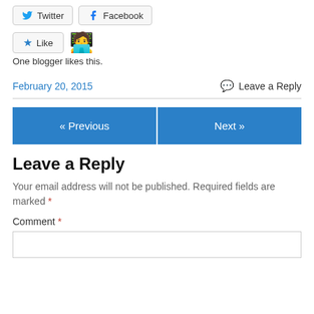[Figure (screenshot): Social share buttons: Twitter and Facebook]
[Figure (screenshot): Like button with star icon and blogger emoji illustration. Text: One blogger likes this.]
One blogger likes this.
February 20, 2015   Leave a Reply
[Figure (screenshot): Navigation buttons: « Previous and Next »]
Leave a Reply
Your email address will not be published. Required fields are marked *
Comment *